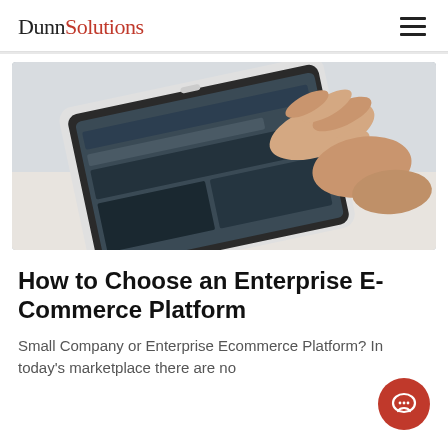DunnSolutions
[Figure (photo): A hand touching a tablet screen displaying an e-commerce website, viewed from an angle on a light surface.]
How to Choose an Enterprise E-Commerce Platform
Small Company or Enterprise Ecommerce Platform? In today's marketplace there are no